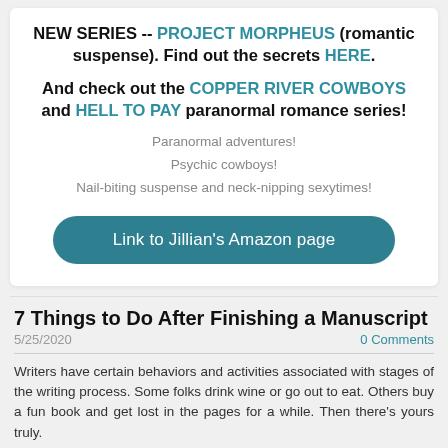NEW SERIES -- PROJECT MORPHEUS (romantic suspense). Find out the secrets HERE.
And check out the COPPER RIVER COWBOYS and HELL TO PAY paranormal romance series!
Paranormal adventures!
Psychic cowboys!
Nail-biting suspense and neck-nipping sexytimes!
Link to Jillian's Amazon page
7 Things to Do After Finishing a Manuscript
5/25/2020
0 Comments
Writers have certain behaviors and activities associated with stages of the writing process. Some folks drink wine or go out to eat. Others buy a fun book and get lost in the pages for a while. Then there's yours truly.